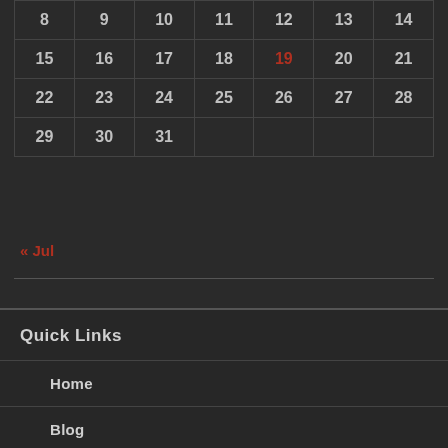| 8 | 9 | 10 | 11 | 12 | 13 | 14 |
| 15 | 16 | 17 | 18 | 19 | 20 | 21 |
| 22 | 23 | 24 | 25 | 26 | 27 | 28 |
| 29 | 30 | 31 |  |  |  |  |
« Jul
Quick Links
Home
Blog